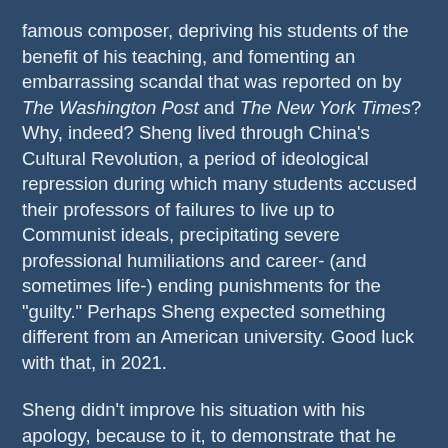famous composer, depriving his students of the benefit of his teaching, and fomenting an embarrassing scandal that was reported on by The Washington Post and The New York Times? Why, indeed? Sheng lived through China's Cultural Revolution, a period of ideological repression during which many students accused their professors of failures to live up to Communist ideals, precipitating severe professional humiliations and career- (and sometimes life-) ending punishments for the "guilty." Perhaps Sheng expected something different from an American university. Good luck with that, in 2021.
Sheng didn't improve his situation with his apology, because to it, to demonstrate that he was no racist, he added the information that he had cast performers of color in leading roles in past musical productions. This irritated the offended students. Why? Because, in the circular logic of what linguist John McWhorter calls "woke racism," if you are white (or Asian, or, in any case, not black), claiming not to be racist means you are racist and don't know it. Prevailing academic orthodoxy holds that only two kinds of non-black people exist in America: those who admit their racism and those who